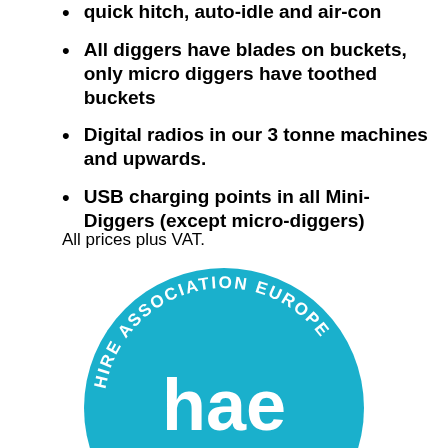quick hitch, auto-idle and air-con
All diggers have blades on buckets, only micro diggers have toothed buckets
Digital radios in our 3 tonne machines and upwards.
USB charging points in all Mini-Diggers (except micro-diggers)
All prices plus VAT.
[Figure (logo): HAE (Hire Association Europe) circular logo in teal/cyan color with white text reading 'HIRE ASSOCIATION EUROPE' around the circle, 'hae' in large white letters in the center, and 'Member' at the bottom]